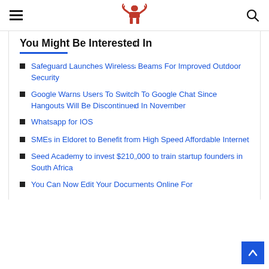Navigation header with hamburger menu, logo, and search icon
You Might Be Interested In
Safeguard Launches Wireless Beams For Improved Outdoor Security
Google Warns Users To Switch To Google Chat Since Hangouts Will Be Discontinued In November
Whatsapp for IOS
SMEs in Eldoret to Benefit from High Speed Affordable Internet
Seed Academy to invest $210,000 to train startup founders in South Africa
You Can Now Edit Your Documents Online For